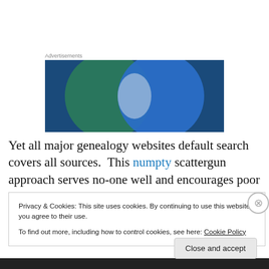Advertisements
[Figure (illustration): Venn diagram advertisement image with two overlapping circles — left circle is dark green/teal, right circle is blue, overlapping area is light gray/white, on a dark blue background.]
Yet all major genealogy websites default search covers all sources.  This numpty scattergun approach serves no-one well and encourages poor habits. In Kerry Scott's nutrition
Privacy & Cookies: This site uses cookies. By continuing to use this website, you agree to their use.
To find out more, including how to control cookies, see here: Cookie Policy
Close and accept